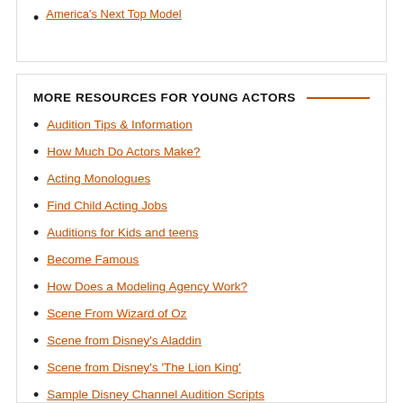America's Next Top Model
MORE RESOURCES FOR YOUNG ACTORS
Audition Tips & Information
How Much Do Actors Make?
Acting Monologues
Find Child Acting Jobs
Auditions for Kids and teens
Become Famous
How Does a Modeling Agency Work?
Scene From Wizard of Oz
Scene from Disney's Aladdin
Scene from Disney's 'The Lion King'
Sample Disney Channel Audition Scripts
Baby modeling agencies and child talent agents